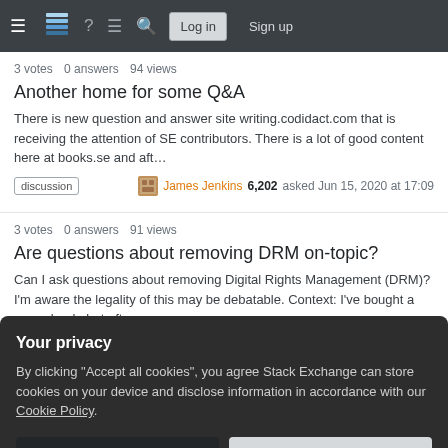Stack Exchange navigation bar with hamburger menu, logo, help, chat, search, Log in, Sign up
3 votes  0 answers  94 views
Another home for some Q&A
There is new question and answer site writing.codidact.com that is receiving the attention of SE contributors. There is a lot of good content here at books.se and aft…
discussion  James Jenkins 6,202 asked Jun 15, 2020 at 17:09
3 votes  0 answers  91 views
Are questions about removing DRM on-topic?
Can I ask questions about removing Digital Rights Management (DRM)? I'm aware the legality of this may be debatable. Context: I've bought a paper book, but after…
discussion  scope
Your privacy
By clicking "Accept all cookies", you agree Stack Exchange can store cookies on your device and disclose information in accordance with our Cookie Policy.
Accept all cookies  Customize settings